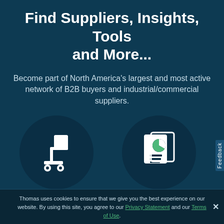Find Suppliers, Insights, Tools and More...
Become part of North America's largest and most active network of B2B buyers and industrial/commercial suppliers.
[Figure (illustration): White icon of a hand truck / dolly with a box on it, inside a dark circular background]
[Figure (illustration): White icon of a document with a pie chart and lines on it, inside a dark circular background]
Select From Over 500,000 Industrial Suppliers
Receive Daily Industry Updates
Thomas uses cookies to ensure that we give you the best experience on our website. By using this site, you agree to our Privacy Statement and our Terms of Use.